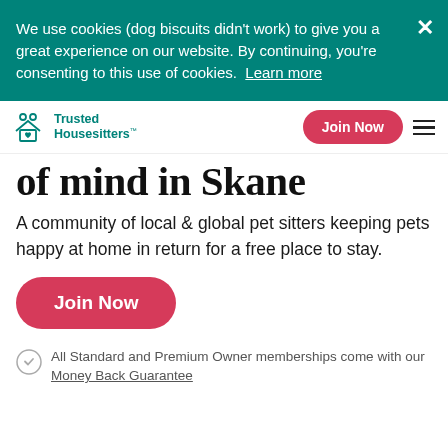We use cookies (dog biscuits didn't work) to give you a great experience on our website. By continuing, you're consenting to this use of cookies. Learn more
[Figure (logo): Trusted Housesitters logo with house and people icon in teal]
Join Now (navigation button)
of mind in Skane
A community of local & global pet sitters keeping pets happy at home in return for a free place to stay.
Join Now (button)
All Standard and Premium Owner memberships come with our Money Back Guarantee